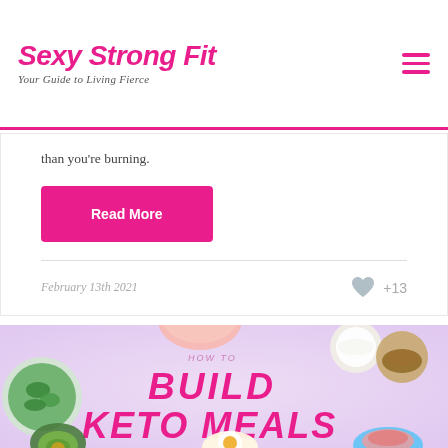Sexy Strong Fit — Your Guide to Living Fierce
than you're burning.
Read More
February 13th 2021  +13
[Figure (illustration): How to Build Keto Meals promotional banner with food items (salad bowl, spinach, coconut, avocado, fried egg, salmon) on lavender background]